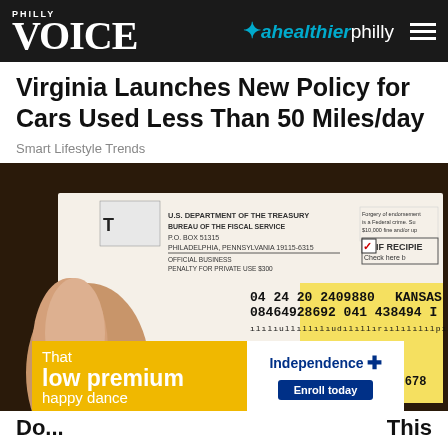PHILLY VOICE | a healthier philly
Virginia Launches New Policy for Cars Used Less Than 50 Miles/day
Smart Lifestyle Trends
[Figure (photo): A hand holding a U.S. Department of the Treasury Bureau of the Fiscal Service check addressed to John Oe, 1234 Main Street, Anytown USA 81234 5678, with an overlay advertisement for Independence Blue Cross low premium health insurance.]
Do ...   This